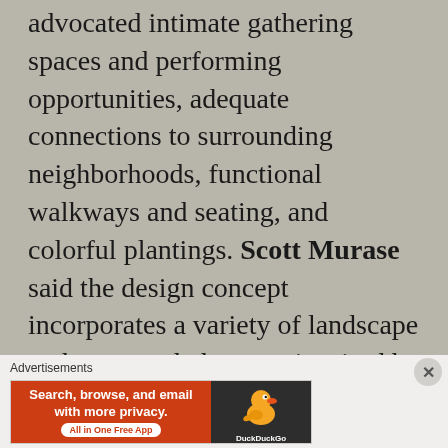advocated intimate gathering spaces and performing opportunities, adequate connections to surrounding neighborhoods, functional walkways and seating, and colorful plantings. Scott Murase said the design concept incorporates a variety of landscape and structural elements inspired by Hendrix's writings, music and art that
[Figure (screenshot): DuckDuckGo advertisement banner: orange left panel with text 'Search, browse, and email with more privacy. All in One Free App' and dark right panel with DuckDuckGo duck logo.]